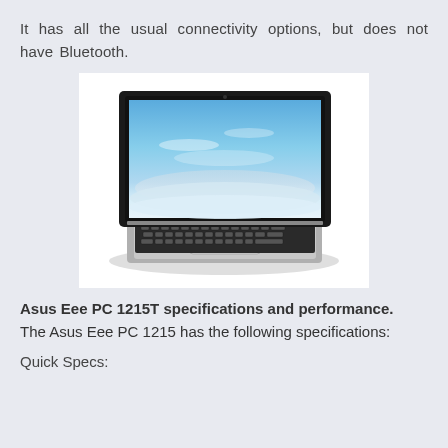It has all the usual connectivity options, but does not have Bluetooth.
[Figure (photo): Asus Eee PC 1215T netbook laptop with black lid open, showing blue sky wallpaper on screen, with silver keyboard base and touchpad]
Asus Eee PC 1215T specifications and performance. The Asus Eee PC 1215 has the following specifications:
Quick Specs:
...